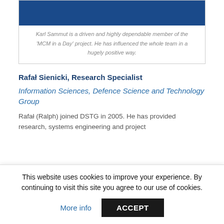[Figure (photo): Photo of Karl Sammut with blue background]
Karl Sammut is a driven and highly dependable member of the 'MCM in a Day' project. He has influenced the whole team in a hugely positive way.
Rafał Sienicki, Research Specialist
Information Sciences, Defence Science and Technology Group
Rafał (Ralph) joined DSTG in 2005. He has provided research, systems engineering and project
This website uses cookies to improve your experience. By continuing to visit this site you agree to our use of cookies.
More info   ACCEPT